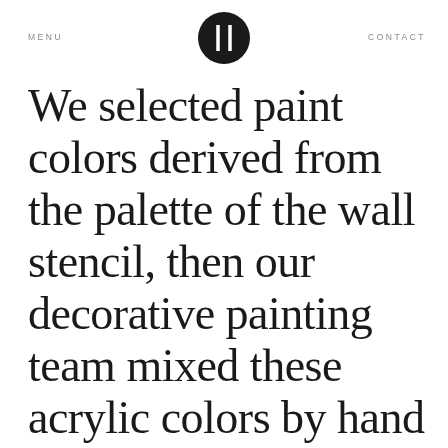MENU   CONTACT
We selected paint colors derived from the palette of the wall stencil, then our decorative painting team mixed these acrylic colors by hand to achieve colors with less value, while retaining